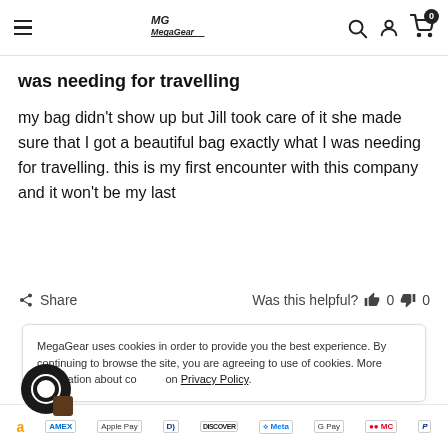MegaGear
was needing for travelling
my bag didn't show up but Jill took care of it she made sure that I got a beautiful bag exactly what I was needing for travelling. this is my first encounter with this company and it won't be my last
Share   Was this helpful?  👍 0  👎 0
MegaGear uses cookies in order to provide you the best experience. By continuing to browse the site, you are agreeing to use of cookies. More information about cookies on Privacy Policy.
amazon   AMEX   Apple Pay   Diners   DISCOVER   Meta   Google Pay   Mastercard   PayPal